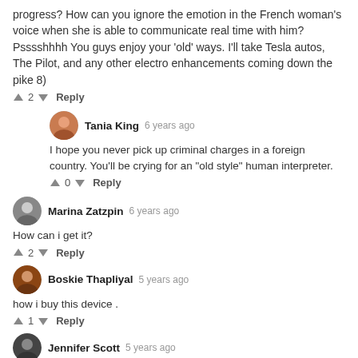progress? How can you ignore the emotion in the French woman's voice when she is able to communicate real time with him? Psssshhhh You guys enjoy your 'old' ways. I'll take Tesla autos, The Pilot, and any other electro enhancements coming down the pike 8)
↑ 2 ↓   Reply
Tania King  6 years ago
I hope you never pick up criminal charges in a foreign country. You'll be crying for an "old style" human interpreter.
↑ 0 ↓   Reply
Marina Zatzpin  6 years ago
How can i get it?
↑ 2 ↓   Reply
Boskie Thapliyal  5 years ago
how i buy this device .
↑ 1 ↓   Reply
Jennifer Scott  5 years ago
talk shit now pedicure bitches!!!
↑ 1 ↓   Reply